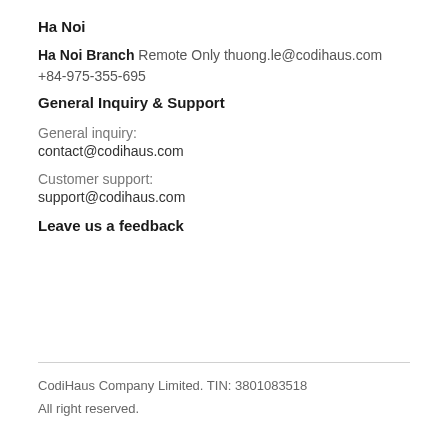Ha Noi
Ha Noi Branch Remote Only thuong.le@codihaus.com +84-975-355-695
General Inquiry & Support
General inquiry:
contact@codihaus.com
Customer support:
support@codihaus.com
Leave us a feedback
CodiHaus Company Limited. TIN: 3801083518
All right reserved.